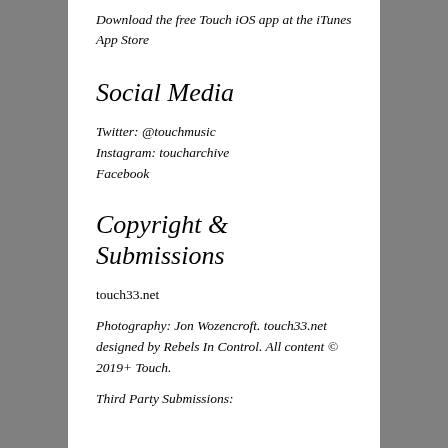Download the free Touch iOS app at the iTunes App Store
Social Media
Twitter: @touchmusic
Instagram: toucharchive
Facebook
Copyright & Submissions
touch33.net
Photography: Jon Wozencroft. touch33.net designed by Rebels In Control. All content © 2019+ Touch.
Third Party Submissions: